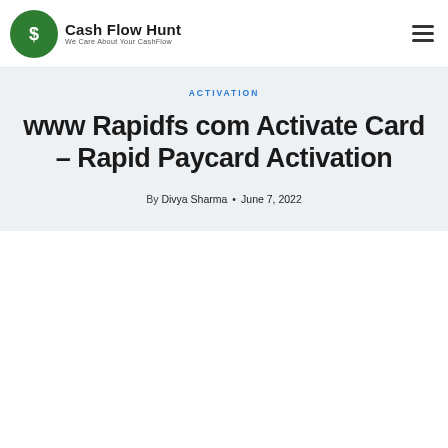[Figure (logo): Cash Flow Hunt logo with green circle containing a dollar sign, followed by bold text 'Cash Flow Hunt' and subtitle 'We Care About Your CashFlow']
ACTIVATION
www Rapidfs com Activate Card – Rapid Paycard Activation
By Divya Sharma • June 7, 2022